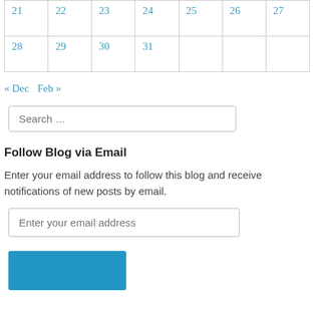| 21 | 22 | 23 | 24 | 25 | 26 | 27 |
| 28 | 29 | 30 | 31 |  |  |  |
« Dec   Feb »
Search …
Follow Blog via Email
Enter your email address to follow this blog and receive notifications of new posts by email.
Enter your email address